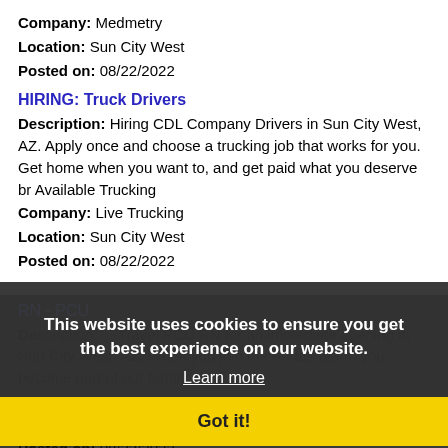Company: Medmetry
Location: Sun City West
Posted on: 08/22/2022
HIRING: Truck Drivers
Description: Hiring CDL Company Drivers in Sun City West, AZ. Apply once and choose a trucking job that works for you. Get home when you want to, and get paid what you deserve br Available Trucking
Company: Live Trucking
Location: Sun City West
Posted on: 08/22/2022
RN - PCU
Description: ... Travel PCU RN for an immediate opening in Sun City West, AZ. When you join the Fortus team, you become part of our family,
Company: Fortus Healthcare Resources
Location: Sun City West
Posted on: 08/22/2022
This website uses cookies to ensure you get the best experience on our website.
Learn more
Got it!
Salary in Sun City, Arizona Area | More details for Sun City, Arizona Jobs |Salary